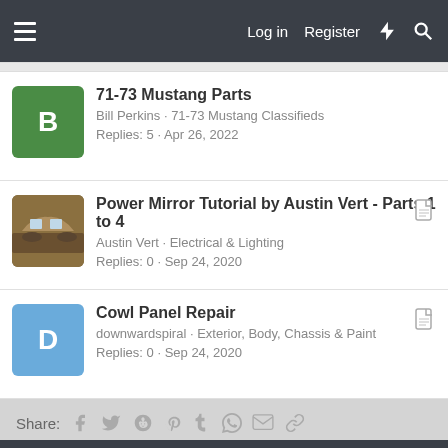Log in  Register
71-73 Mustang Parts · Bill Perkins · 71-73 Mustang Classifieds · Replies: 5 · Apr 26, 2022
Power Mirror Tutorial by Austin Vert - Parts 1 to 4 · Austin Vert · Electrical & Lighting · Replies: 0 · Sep 24, 2020
Cowl Panel Repair · downwardspiral · Exterior, Body, Chassis & Paint · Replies: 0 · Sep 24, 2020
Share:
General Maintenance and Repair